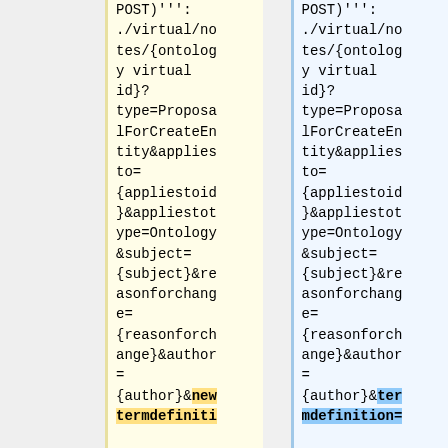| Left (old) | Right (new) |
| --- | --- |
| (POST)''':
./virtual/no
tes/{ontolog
y virtual
id}?
type=Proposa
lForCreateEn
tity&applies
to=
{appliestoid
}&appliestot
ype=Ontology
&subject=
{subject}&re
asonforchang
e=
{reasonforch
ange}&author
=
{author}&new
termdefiniti | (POST)''':
./virtual/no
tes/{ontolog
y virtual
id}?
type=Proposa
lForCreateEn
tity&applies
to=
{appliestoid
}&appliestot
ype=Ontology
&subject=
{subject}&re
asonforchang
e=
{reasonforch
ange}&author
=
{author}&ter
mdefinition= |